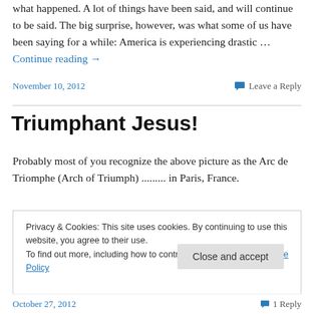what happened. A lot of things have been said, and will continue to be said. The big surprise, however, was what some of us have been saying for a while: America is experiencing drastic … Continue reading →
November 10, 2012     Leave a Reply
Triumphant Jesus!
Probably most of you recognize the above picture as the Arc de Triomphe (Arch of Triumph) ......... in Paris, France.
Privacy & Cookies: This site uses cookies. By continuing to use this website, you agree to their use.
To find out more, including how to control cookies, see here: Cookie Policy
Close and accept
October 27, 2012     1 Reply